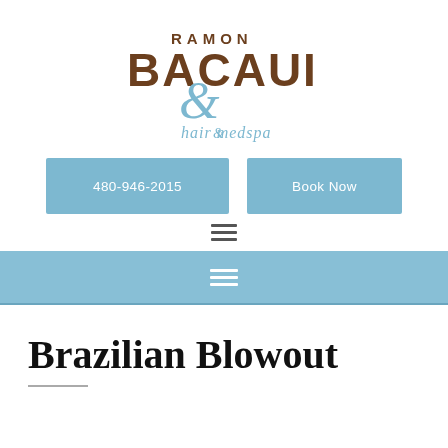[Figure (logo): Ramon Bacaui hair & medspa logo with decorative blue swirl ampersand]
480-946-2015
Book Now
Brazilian Blowout